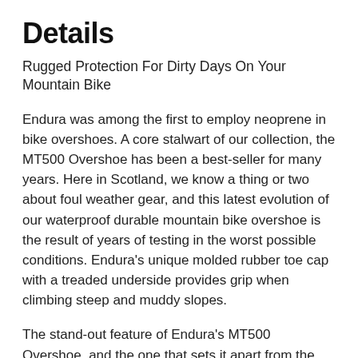Details
Rugged Protection For Dirty Days On Your Mountain Bike
Endura was among the first to employ neoprene in bike overshoes. A core stalwart of our collection, the MT500 Overshoe has been a best-seller for many years. Here in Scotland, we know a thing or two about foul weather gear, and this latest evolution of our waterproof durable mountain bike overshoe is the result of years of testing in the worst possible conditions. Endura's unique molded rubber toe cap with a treaded underside provides grip when climbing steep and muddy slopes.
The stand-out feature of Endura's MT500 Overshoe, and the one that sets it apart from the rest of the competition, is the molded rubber toe cap. This has been totally revamped with improved tread on the underside that gives you plenty of grip on steep, muddy slopes and also includes additional reinforced areas that improve the durability of